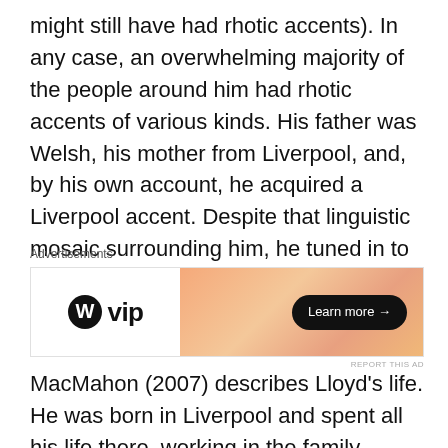might still have had rhotic accents). In any case, an overwhelming majority of the people around him had rhotic accents of various kinds. His father was Welsh, his mother from Liverpool, and, by his own account, he acquired a Liverpool accent. Despite that linguistic mosaic surrounding him, he tuned in to the local accent, as children do.
[Figure (other): WordPress VIP advertisement banner with orange gradient background and 'Learn more' button]
MacMahon (2007) describes Lloyd's life. He was born in Liverpool and spent all his life there, working in the family business at the Port of Liverpool, assessing imported goods for duties. In his spare time he studied for his London BA, MA and DLitt, and then continued his